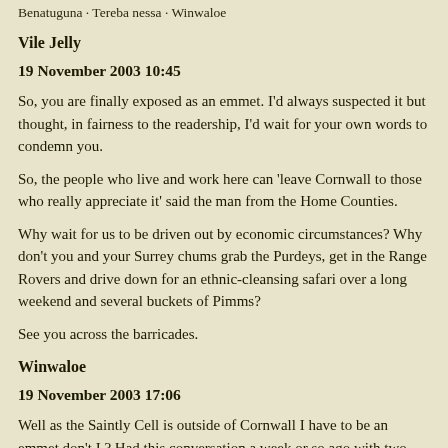Benatuguna · Tereba nessa · Winwaloe
Vile Jelly
19 November 2003 10:45
So, you are finally exposed as an emmet. I'd always suspected it but thought, in fairness to the readership, I'd wait for your own words to condemn you.
So, the people who live and work here can 'leave Cornwall to those who really appreciate it' said the man from the Home Counties.
Why wait for us to be driven out by economic circumstances? Why don't you and your Surrey chums grab the Purdeys, get in the Range Rovers and drive down for an ethnic-cleansing safari over a long weekend and several buckets of Pimms?
See you across the barricades.
Winwaloe
19 November 2003 17:06
Well as the Saintly Cell is outside of Cornwall I have to be an emmet don't I ? Had this conversation a week or so ago with two